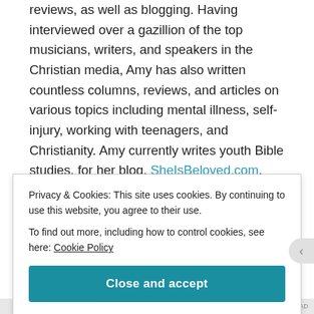reviews, as well as blogging. Having interviewed over a gazillion of the top musicians, writers, and speakers in the Christian media, Amy has also written countless columns, reviews, and articles on various topics including mental illness, self-injury, working with teenagers, and Christianity. Amy currently writes youth Bible studies, for her blog, SheIsBeloved.com, runs Share Beauty Project
Privacy & Cookies: This site uses cookies. By continuing to use this website, you agree to their use.
To find out more, including how to control cookies, see here: Cookie Policy
Close and accept